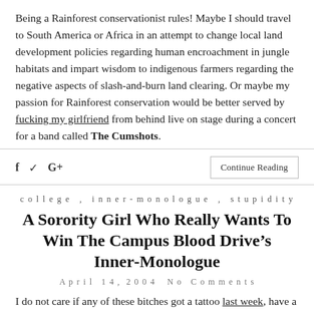Being a Rainforest conservationist rules! Maybe I should travel to South America or Africa in an attempt to change local land development policies regarding human encroachment in jungle habitats and impart wisdom to indigenous farmers regarding the negative aspects of slash-and-burn land clearing. Or maybe my passion for Rainforest conservation would be better served by fucking my girlfriend from behind live on stage during a concert for a band called The Cumshots.
f  ✓  G+    Continue Reading
college  ,  inner-monologue  ,  stupidity
A Sorority Girl Who Really Wants To Win The Campus Blood Drive's Inner-Monologue
April 14, 2004   No Comments
I do not care if any of these bitches got a tattoo last week, have a cold, were pierced recently, use intravenous drugs, are HIV infected or contracted hepatitis from some skeezy frat boy that looked like Dave Matthews. They better LIE! If I screw this sorority girl blood drive up my